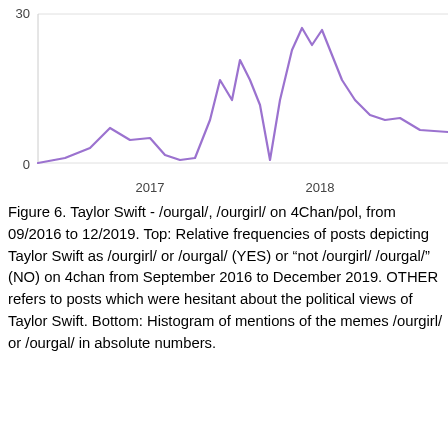[Figure (continuous-plot): Line chart showing relative frequency of /ourgirl/ or /ourgal/ mentions on 4chan/pol from 2017 to 2018+. Y-axis goes from 0 to 30. A purple line shows fluctuating values with peaks around mid-2017 and late 2018.]
Figure 6. Taylor Swift - /ourgal/, /ourgirl/ on 4Chan/pol, from 09/2016 to 12/2019. Top: Relative frequencies of posts depicting Taylor Swift as /ourgirl/ or /ourgal/ (YES) or “not /ourgirl/ /ourgal/” (NO) on 4chan from September 2016 to December 2019. OTHER refers to posts which were hesitant about the political views of Taylor Swift. Bottom: Histogram of mentions of the memes /ourgirl/ or /ourgal/ in absolute numbers.
“Her fan base used to include a lot of White Power types who hailed her as an Aryan goddess too. The schadenfreude is delicious. (https://www.npr.org/sections/codeswitch/2016/05/27/479462825/taylor-swift-aryan-goddess)”
“It’s not even an incel thing, she is [worshipped by white supremacists] as a goddess for some reason.] (https://www.washingtonpost.com/news/morning-mix/wp/2016/05/25/alt-right-white-supremacists-have-chosen-taylor-swift-as-their-aryan-goddess/)